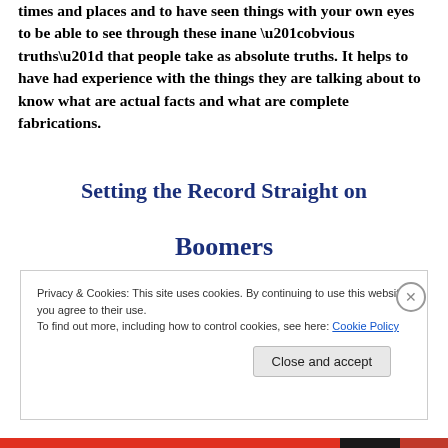times and places and to have seen things with your own eyes to be able to see through these inane “obvious truths” that people take as absolute truths. It helps to have had experience with the things they are talking about to know what are actual facts and what are complete fabrications.
Setting the Record Straight on Boomers
Privacy & Cookies: This site uses cookies. By continuing to use this website, you agree to their use.
To find out more, including how to control cookies, see here: Cookie Policy
Close and accept